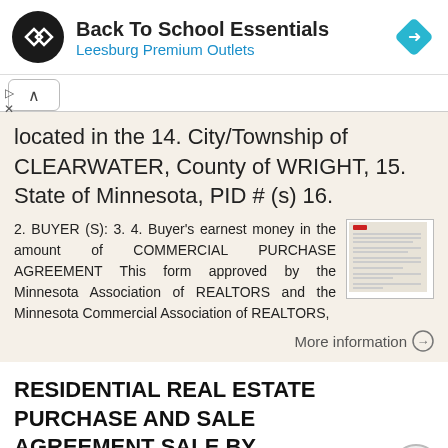[Figure (infographic): Advertisement banner for Back To School Essentials at Leesburg Premium Outlets with logo and navigation icon]
located in the 14. City/Township of CLEARWATER, County of WRIGHT, 15. State of Minnesota, PID # (s) 16.
2. BUYER (S): 3. 4. Buyer's earnest money in the amount of COMMERCIAL PURCHASE AGREEMENT This form approved by the Minnesota Association of REALTORS and the Minnesota Commercial Association of REALTORS,
More information →
RESIDENTIAL REAL ESTATE PURCHASE AND SALE AGREEMENT SALE BY BANKRUPTCY ESTATE